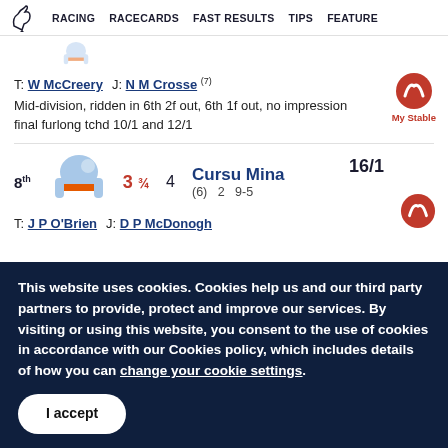RACING  RACECARDS  FAST RESULTS  TIPS  FEATURE
T: W McCreery  J: N M Crosse (7)
Mid-division, ridden in 6th 2f out, 6th 1f out, no impression final furlong tchd 10/1 and 12/1
8th  3 ¾  4  Cursu Mina  (6)  2 9-5  16/1
T: J P O'Brien  J: D P McDonogh
This website uses cookies. Cookies help us and our third party partners to provide, protect and improve our services. By visiting or using this website, you consent to the use of cookies in accordance with our Cookies policy, which includes details of how you can change your cookie settings.
I accept